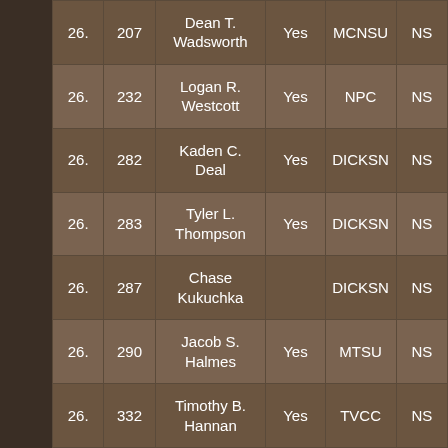| 26. | 207 | Dean T. Wadsworth | Yes | MCNSU | NS |
| 26. | 232 | Logan R. Westcott | Yes | NPC | NS |
| 26. | 282 | Kaden C. Deal | Yes | DICKSN | NS |
| 26. | 283 | Tyler L. Thompson | Yes | DICKSN | NS |
| 26. | 287 | Chase Kukuchka |  | DICKSN | NS |
| 26. | 290 | Jacob S. Halmes | Yes | MTSU | NS |
| 26. | 332 | Timothy B. Hannan | Yes | TVCC | NS |